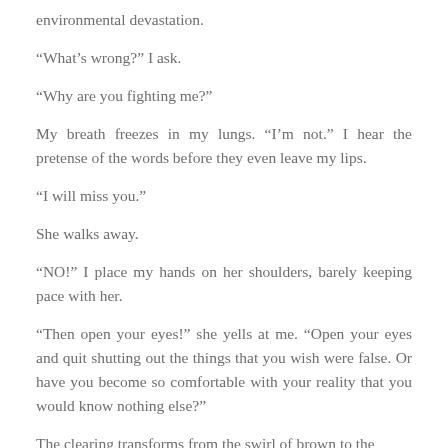environmental devastation.
“What’s wrong?” I ask.
“Why are you fighting me?”
My breath freezes in my lungs. “I’m not.” I hear the pretense of the words before they even leave my lips.
“I will miss you.”
She walks away.
“NO!” I place my hands on her shoulders, barely keeping pace with her.
“Then open your eyes!” she yells at me. “Open your eyes and quit shutting out the things that you wish were false. Or have you become so comfortable with your reality that you would know nothing else?”
The clearing transforms from the swirl of brown to the